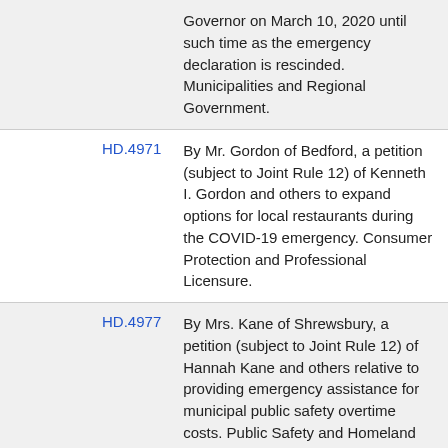| Bill | Description |
| --- | --- |
|  | Governor on March 10, 2020 until such time as the emergency declaration is rescinded. Municipalities and Regional Government. |
| HD.4971 | By Mr. Gordon of Bedford, a petition (subject to Joint Rule 12) of Kenneth I. Gordon and others to expand options for local restaurants during the COVID-19 emergency. Consumer Protection and Professional Licensure. |
| HD.4977 | By Mrs. Kane of Shrewsbury, a petition (subject to Joint Rule 12) of Hannah Kane and others relative to providing emergency assistance for municipal public safety overtime costs. Public Safety and Homeland Security. |
| HD.4985 | By Mr. González of Springfield, a |